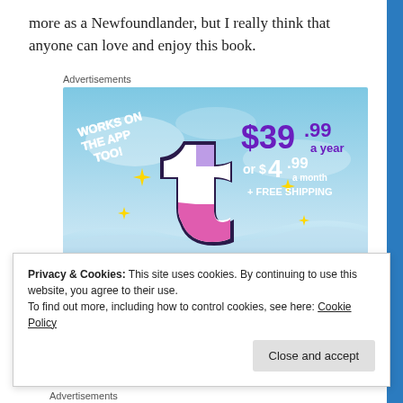more as a Newfoundlander, but I really think that anyone can love and enjoy this book.
[Figure (advertisement): Tumblr Ad-Free advertisement banner showing the Tumblr logo (stylized 't' in pink, white and purple), sparkle stars, blue sky background, text: 'WORKS ON THE APP TOO!', '$39.99 a year', 'or $4.99 a month', '+ FREE SHIPPING', 'TUMBLR AD-FREE']
Privacy & Cookies: This site uses cookies. By continuing to use this website, you agree to their use.
To find out more, including how to control cookies, see here: Cookie Policy
Close and accept
Advertisements